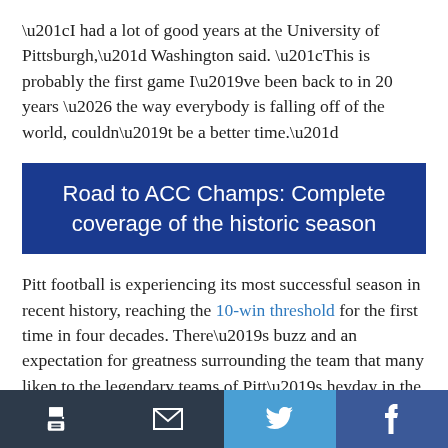“I had a lot of good years at the University of Pittsburgh,” Washington said. “This is probably the first game I’ve been back to in 20 years … the way everybody is falling off of the world, couldn’t be a better time.”
Road to ACC Champs: Complete coverage of the historic season
Pitt football is experiencing its most successful season in recent history, reaching the 10-win threshold for the first time in four decades. There’s buzz and an expectation for greatness surrounding the team that many liken to the legendary teams of Pitt’s heyday in the ’80s.
[print] [email] [twitter] [facebook]